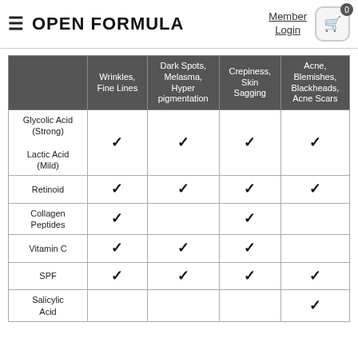OPEN FORMULA   Member Login   0
|  | Wrinkles, Fine Lines | Dark Spots, Melasma, Hyperpigmentation | Crepiness, Skin Sagging | Acne, Blemishes, Blackheads, Acne Scars |
| --- | --- | --- | --- | --- |
| Glycolic Acid (Strong)
Lactic Acid (Mild) | ✓ | ✓ | ✓ | ✓ |
| Retinoid | ✓ | ✓ | ✓ | ✓ |
| Collagen Peptides | ✓ |  | ✓ |  |
| Vitamin C | ✓ | ✓ | ✓ |  |
| SPF | ✓ | ✓ | ✓ | ✓ |
| Salicylic Acid |  |  |  | ✓ |